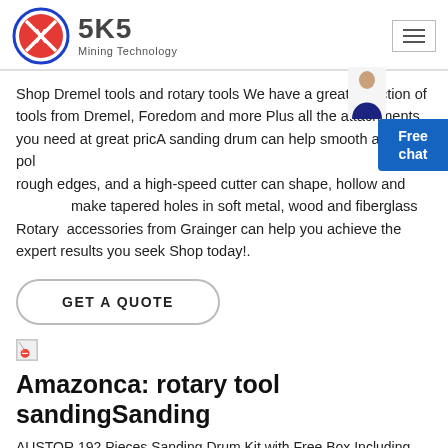SKS Mining Technology
Shop Dremel tools and rotary tools We have a great selection of tools from Dremel, Foredom and more Plus all the attachments you need at great pricA sanding drum can help smooth and polish rough edges, and a high-speed cutter can shape, hollow and make tapered holes in soft metal, wood and fiberglass Rotary accessories from Grainger can help you achieve the expert results you seek Shop today!.
GET A QUOTE
[Figure (illustration): Broken image placeholder icon]
Amazonca: rotary tool sandingSanding
AUSTOR 192 Pieces Sanding Drum Kit with Free Box Including 180